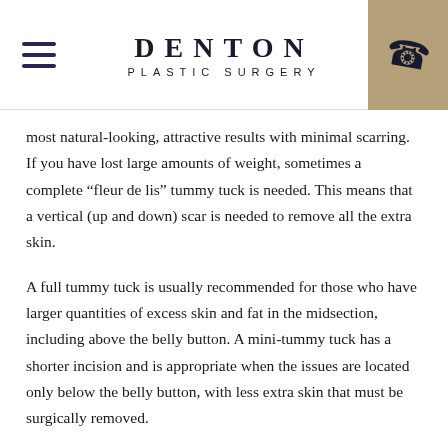DENTON PLASTIC SURGERY
most natural-looking, attractive results with minimal scarring. If you have lost large amounts of weight, sometimes a complete “fleur de lis” tummy tuck is needed. This means that a vertical (up and down) scar is needed to remove all the extra skin.
A full tummy tuck is usually recommended for those who have larger quantities of excess skin and fat in the midsection, including above the belly button. A mini-tummy tuck has a shorter incision and is appropriate when the issues are located only below the belly button, with less extra skin that must be surgically removed.